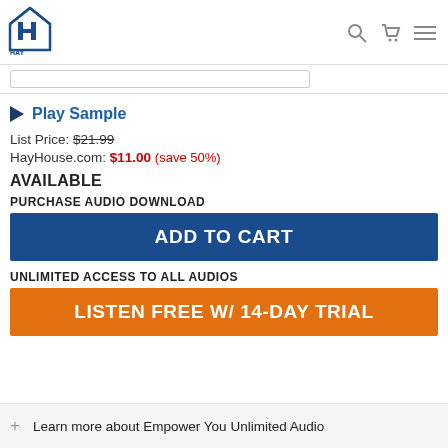[Figure (logo): Hay House logo with house icon and text HAY HOUSE]
Play Sample
List Price: $21.99
HayHouse.com: $11.00 (save 50%)
AVAILABLE
PURCHASE AUDIO DOWNLOAD
ADD TO CART
UNLIMITED ACCESS TO ALL AUDIOS
LISTEN FREE W/ 14-DAY TRIAL
+ Learn more about Empower You Unlimited Audio